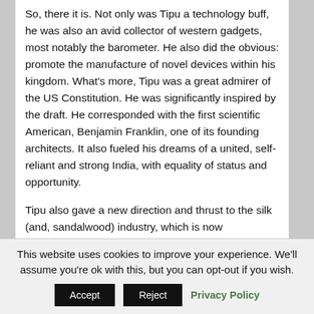So, there it is. Not only was Tipu a technology buff, he was also an avid collector of western gadgets, most notably the barometer. He also did the obvious: promote the manufacture of novel devices within his kingdom. What's more, Tipu was a great admirer of the US Constitution. He was significantly inspired by the draft. He corresponded with the first scientific American, Benjamin Franklin, one of its founding architects. It also fueled his dreams of a united, self-reliant and strong India, with equality of status and opportunity.
Tipu also gave a new direction and thrust to the silk (and, sandalwood) industry, which is now Karnataka's pride. He dabbled in engineering skills too. Yet, he was awfully superstitious. Take for instance, the contents of his library,
This website uses cookies to improve your experience. We'll assume you're ok with this, but you can opt-out if you wish.
Accept | Reject | Privacy Policy